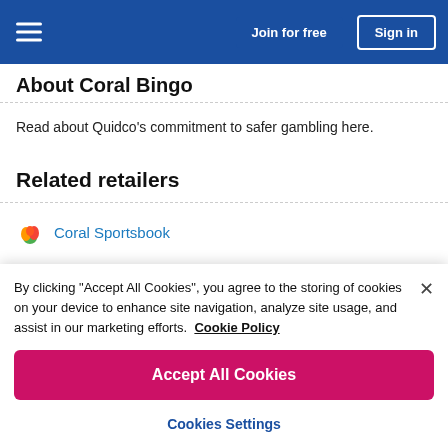Join for free | Sign in
About Coral Bingo
Read about Quidco's commitment to safer gambling here.
Related retailers
Coral Sportsbook
Similar retailers (partial)
By clicking “Accept All Cookies”, you agree to the storing of cookies on your device to enhance site navigation, analyze site usage, and assist in our marketing efforts. Cookie Policy
Accept All Cookies
Cookies Settings